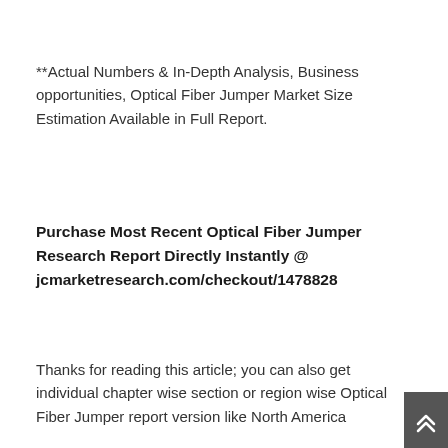**Actual Numbers & In-Depth Analysis, Business opportunities, Optical Fiber Jumper Market Size Estimation Available in Full Report.
Purchase Most Recent Optical Fiber Jumper Research Report Directly Instantly @ jcmarketresearch.com/checkout/1478828
Thanks for reading this article; you can also get individual chapter wise section or region wise Optical Fiber Jumper report version like North America...